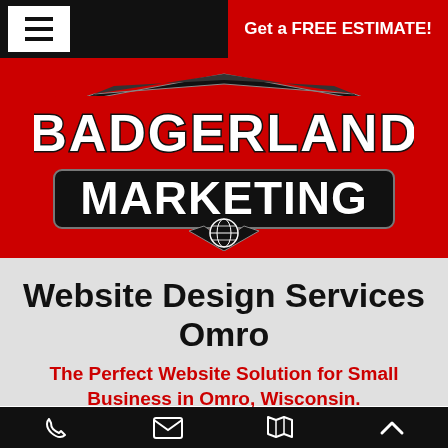≡  Get a FREE ESTIMATE!
[Figure (logo): Badgerland Marketing logo — red banner with bold white 'BADGERLAND' text above a black rectangle with bold white 'MARKETING' text, decorative wings and globe emblem below]
Website Design Services Omro
The Perfect Website Solution for Small Business in Omro, Wisconsin.
Get a FREE ESTIMATE!
Phone | Email | Map | Up